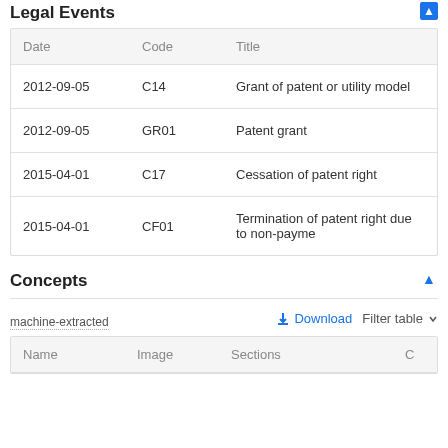Legal Events
| Date | Code | Title |
| --- | --- | --- |
| 2012-09-05 | C14 | Grant of patent or utility model |
| 2012-09-05 | GR01 | Patent grant |
| 2015-04-01 | C17 | Cessation of patent right |
| 2015-04-01 | CF01 | Termination of patent right due to non-payme |
Concepts
machine-extracted
| Name | Image | Sections | C |
| --- | --- | --- | --- |